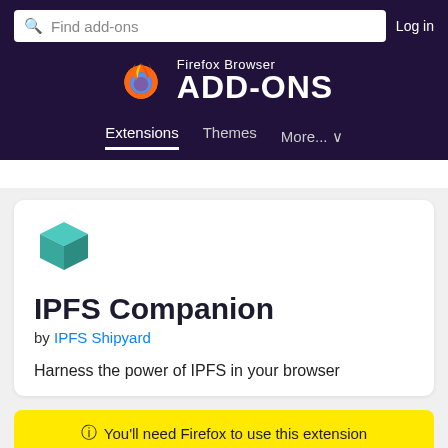Find add-ons | Log in
[Figure (logo): Firefox Browser ADD-ONS logo with Firefox flame icon]
Extensions   Themes   More...
[Figure (logo): IPFS Companion teal 3D cube icon]
IPFS Companion
by IPFS Shipyard
Harness the power of IPFS in your browser
ⓘ You'll need Firefox to use this extension